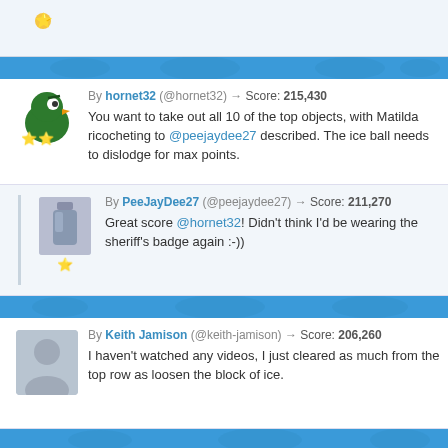Top stub comment area
By hornet32 (@hornet32) → Score: 215,430 — You want to take out all 10 of the top objects, with Matilda ricocheting to @peejaydee27 described. The ice ball needs to dislodge for max points.
By PeeJayDee27 (@peejaydee27) → Score: 211,270 — Great score @hornet32! Didn't think I'd be wearing the sheriff's badge again :-))
By Keith Jamison (@keith-jamison) → Score: 206,260 — I haven't watched any videos, I just cleared as much from the top row as loosen the block of ice.
Bottom partial comment